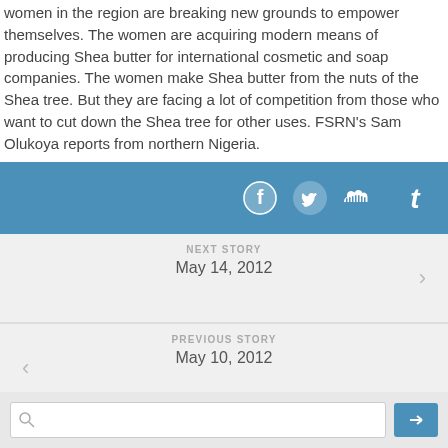women in the region are breaking new grounds to empower themselves. The women are acquiring modern means of producing Shea butter for international cosmetic and soap companies. The women make Shea butter from the nuts of the Shea tree. But they are facing a lot of competition from those who want to cut down the Shea tree for other uses. FSRN's Sam Olukoya reports from northern Nigeria.
[Figure (infographic): Social media icons bar (Facebook, Twitter, SoundCloud, Tumblr) on a blue background]
NEXT STORY
May 14, 2012
PREVIOUS STORY
May 10, 2012